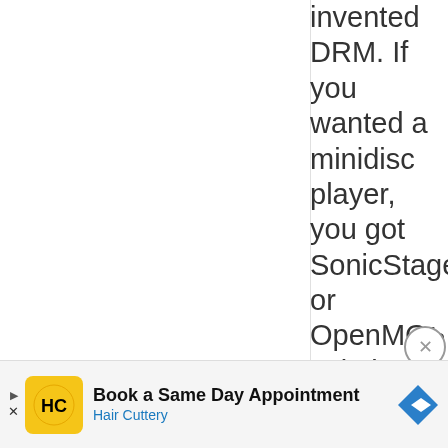invented DRM. If you wanted a minidisc player, you got SonicStage, or OpenMG Jukebox, depending on the MD player brand. It was mandatory to use that software in order to transfer audio in and
[Figure (other): Advertisement banner for Hair Cuttery: Book a Same Day Appointment, with HC logo and navigation icon]